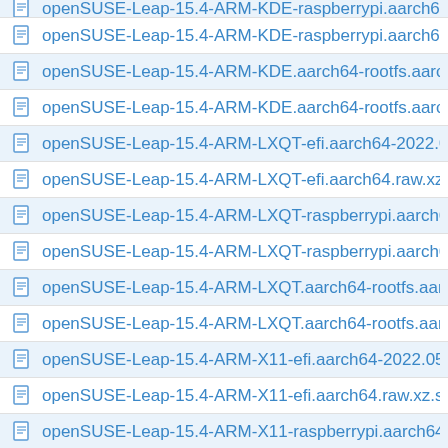openSUSE-Leap-15.4-ARM-KDE-raspberrypi.aarch64-...
openSUSE-Leap-15.4-ARM-KDE-raspberrypi.aarch64-...
openSUSE-Leap-15.4-ARM-KDE.aarch64-rootfs.aarch...
openSUSE-Leap-15.4-ARM-KDE.aarch64-rootfs.aarch...
openSUSE-Leap-15.4-ARM-LXQT-efi.aarch64-2022.05...
openSUSE-Leap-15.4-ARM-LXQT-efi.aarch64.raw.xz.s...
openSUSE-Leap-15.4-ARM-LXQT-raspberrypi.aarch64-...
openSUSE-Leap-15.4-ARM-LXQT-raspberrypi.aarch64-...
openSUSE-Leap-15.4-ARM-LXQT.aarch64-rootfs.aarch...
openSUSE-Leap-15.4-ARM-LXQT.aarch64-rootfs.aarch...
openSUSE-Leap-15.4-ARM-X11-efi.aarch64-2022.05.1...
openSUSE-Leap-15.4-ARM-X11-efi.aarch64.raw.xz.sh...
openSUSE-Leap-15.4-ARM-X11-raspberrypi.aarch64-2...
openSUSE-Leap-15.4-ARM-X11-raspberrypi.aarch64-...